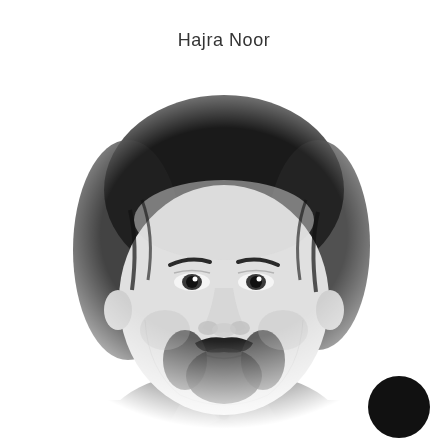Hajra Noor
[Figure (photo): Black and white portrait photo of a young man with shoulder-length dark hair, mustache and beard, wearing a dark striped collared shirt. The image is centered on the page with a white background and fades at the edges.]
[Figure (other): Solid black circle in the lower-right corner of the page.]